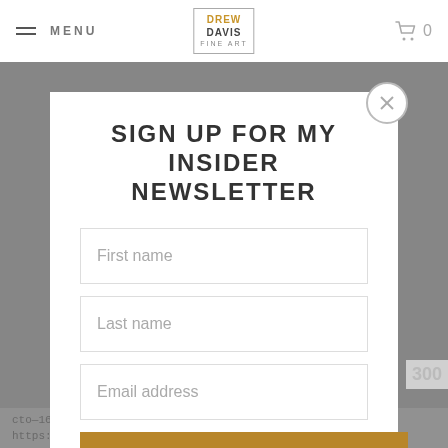MENU | DREW DAVIS FINE ART | 0
SIGN UP FOR MY INSIDER NEWSLETTER
First name
Last name
Email address
SIGN UP
cto-16&topic_to-8
https://www.mixcloud.com/SoulCoolRecords/blowout-